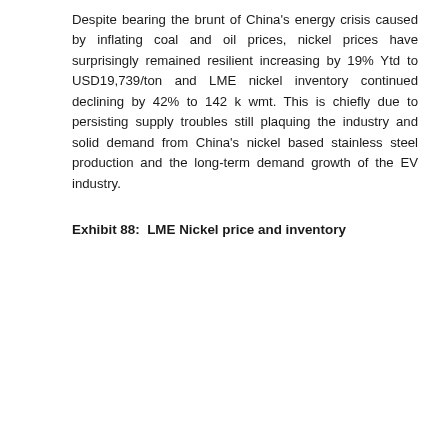Despite bearing the brunt of China's energy crisis caused by inflating coal and oil prices, nickel prices have surprisingly remained resilient increasing by 19% Ytd to USD19,739/ton and LME nickel inventory continued declining by 42% to 142 k wmt. This is chiefly due to persisting supply troubles still plaquing the industry and solid demand from China's nickel based stainless steel production and the long-term demand growth of the EV industry.
Exhibit 88:  LME Nickel price and inventory